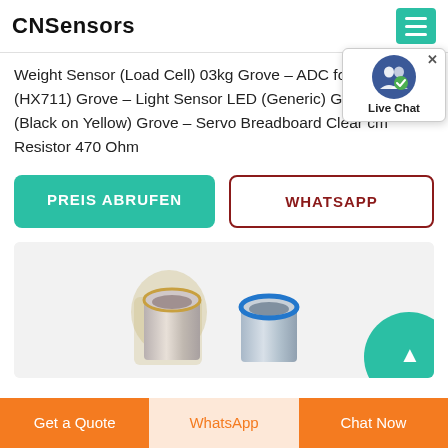CNSensors
Weight Sensor (Load Cell) 03kg Grove – ADC for Load Cell (HX711) Grove – Light Sensor LED (Generic) Grove – LCD (Black on Yellow) Grove – Servo Breadboard Clear cm Resistor 470 Ohm
[Figure (screenshot): Live Chat popup overlay with blue icon showing two people silhouettes and a green checkmark, with close button]
PREIS ABRUFEN
WHATSAPP
[Figure (photo): Product image showing metallic cylindrical sensor components (proximity/inductive sensors) on a light gray background]
Get a Quote
WhatsApp
Chat Now